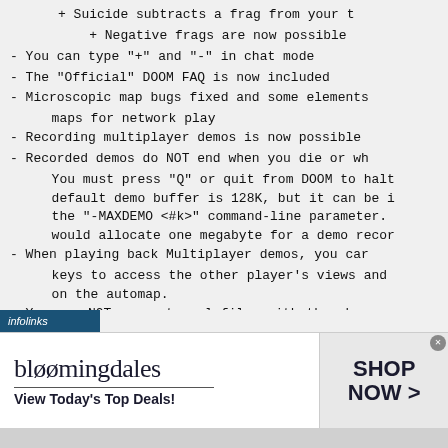+ Suicide subtracts a frag from your t
+ Negative frags are now possible
- You can type "+" and "-" in chat mode
- The "Official" DOOM FAQ is now included
- Microscopic map bugs fixed and some elements maps for network play
- Recording multiplayer demos is now possible
- Recorded demos do NOT end when you die or wh You must press "Q" or quit from DOOM to halt default demo buffer is 128K, but it can be i the "-MAXDEMO <#k>" command-line parameter. would allocate one megabyte for a demo recor
- When playing back Multiplayer demos, you car keys to access the other player's views and on the automap.
- You can NOT use external files with the shar longer.  You must register first.
- You can now reload maps using the IDCLEV che map editing on a LAN
- Supports RESPONSE files for up to 100 commar response file is a text file that contains a arguments you which to pass to DOOM.  An exa
[Figure (screenshot): Bloomingdale's advertisement banner: logo, 'View Today's Top Deals!', woman in hat, SHOP NOW > button]